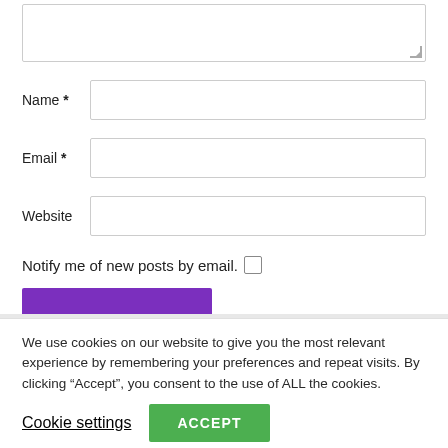[Figure (screenshot): Partial web form with textarea (cropped at top), Name field, Email field, Website field, a checkbox labeled 'Notify me of new posts by email.', and a purple submit button bar]
We use cookies on our website to give you the most relevant experience by remembering your preferences and repeat visits. By clicking “Accept”, you consent to the use of ALL the cookies.
Cookie settings
ACCEPT